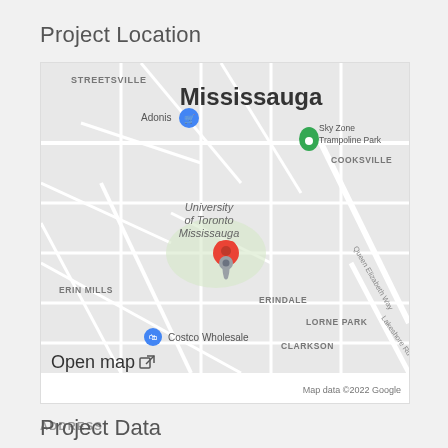Project Location
[Figure (map): Google Maps screenshot showing Mississauga area with a red location pin at University of Toronto Mississauga. Labels visible include STREETSVILLE, Adonis, Mississauga, Sky Zone Trampoline Park, COOKSVILLE, University of Toronto Mississauga, ERIN MILLS, ERINDALE, Queen Elizabeth Way, LORNE PARK, Lakeshore Rd W, Costco Wholesale, CLARKSON. 'Open map' link and 'Map data ©2022 Google' footer visible.]
Open map ↗
ADDRESS
Project Data